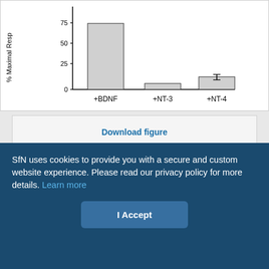[Figure (bar-chart): % Maximal Response vs neurotrophin]
Download figure
Open in new tab
Download powerpoint
Fig. 5.
SfN uses cookies to provide you with a secure and custom website experience. Please read our privacy policy for more details. Learn more
I Accept